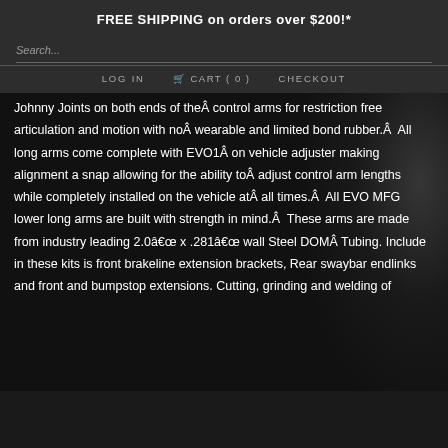FREE SHIPPING on orders over $200!*
Search...
LOG IN   CART ( 0 )   CHECKOUT
Johnny Joints on both ends of theÂ control arms for restriction free articulation and motion with noÂ wearable and limited bond rubber.Â  All long arms come complete with EVO1Â on vehicle adjuster making alignment a snap allowing for the ability toÂ adjust control arm lengths while completely installed on the vehicle atÂ all times.Â  All EVO MFG lower long arms are built with strength in mind.Â  These arms are made from industry leading 2.0â x .281â wall Steel DOMÂ Tubing. Include in these kits is front brakeline extension brackets, Rear swaybar endlinks and front and bumpstop extensions. Cutting, grinding and welding of